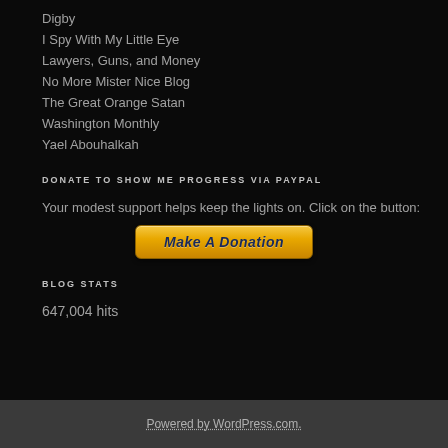Digby
I Spy With My Little Eye
Lawyers, Guns, and Money
No More Mister Nice Blog
The Great Orange Satan
Washington Monthly
Yael Abouhalkah
DONATE TO SHOW ME PROGRESS VIA PAYPAL
Your modest support helps keep the lights on. Click on the button:
[Figure (other): Make A Donation button styled as a golden PayPal-style button]
BLOG STATS
647,004 hits
Powered by WordPress.com.